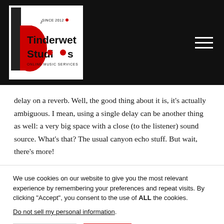[Figure (logo): Tinderwet Studios logo with musical note, red and black design, text 'SINCE 2012', 'ONLINE MUSIC SERVICES']
delay on a reverb. Well, the good thing about it is, it's actually ambiguous. I mean, using a single delay can be another thing as well: a very big space with a close (to the listener) sound source. What's that? The usual canyon echo stuff. But wait, there's more!
We use cookies on our website to give you the most relevant experience by remembering your preferences and repeat visits. By clicking "Accept", you consent to the use of ALL the cookies.
Do not sell my personal information.